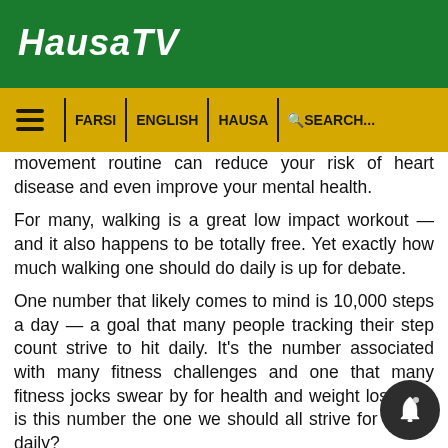HausaTV
FARSI | ENGLISH | HAUSA | SEARCH...
movement routine can reduce your risk of heart disease and even improve your mental health.
For many, walking is a great low impact workout — and it also happens to be totally free. Yet exactly how much walking one should do daily is up for debate.
One number that likely comes to mind is 10,000 steps a day — a goal that many people tracking their step count strive to hit daily. It's the number associated with many fitness challenges and one that many fitness jocks swear by for health and weight loss. But is this number the one we should all strive for on the daily?
Dr. Alexis Coslick, a sports medicine and rehabilitation specialist for Johns Hopkins Medicine, points out that 10,000